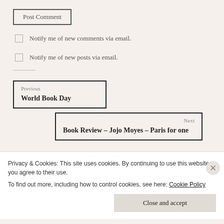Post Comment
Notify me of new comments via email.
Notify me of new posts via email.
Previous
World Book Day
Next
Book Review – Jojo Moyes – Paris for one
Privacy & Cookies: This site uses cookies. By continuing to use this website, you agree to their use.
To find out more, including how to control cookies, see here: Cookie Policy
Close and accept